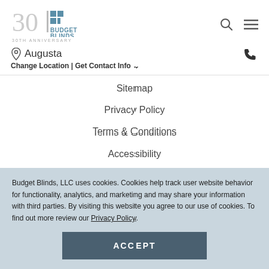[Figure (logo): Budget Blinds 30th Anniversary logo with stylized '30' and blue squares]
30TH ANNIVERSARY
Augusta
Change Location | Get Contact Info
Sitemap
Privacy Policy
Terms & Conditions
Accessibility
Privacy Policy for California Residents
Budget Blinds, LLC uses cookies. Cookies help track user website behavior for functionality, analytics, and marketing and may share your information with third parties. By visiting this website you agree to our use of cookies. To find out more review our Privacy Policy.
ACCEPT